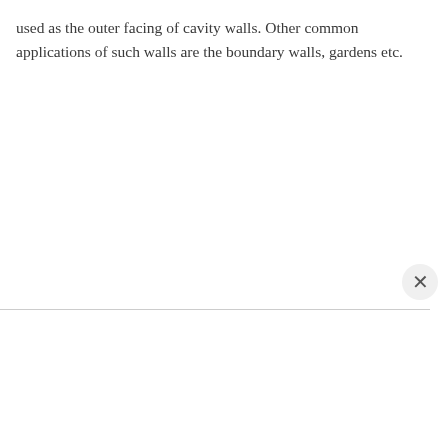used as the outer facing of cavity walls. Other common applications of such walls are the boundary walls, gardens etc.